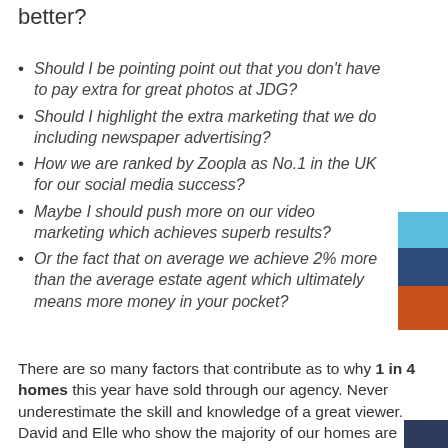better?
Should I be pointing point out that you don't have to pay extra for great photos at JDG?
Should I highlight the extra marketing that we do including newspaper advertising?
How we are ranked by Zoopla as No.1 in the UK for our social media success?
Maybe I should push more on our video marketing which achieves superb results?
Or the fact that on average we achieve 2% more than the average estate agent which ultimately means more money in your pocket?
[Figure (other): Partial stacked bar chart decoration showing light blue, dark blue, and orange segments]
There are so many factors that contribute as to why 1 in 4 homes this year have sold through our agency.   Never underestimate the skill and knowledge of a great viewer.  David and Elle who show the majority of our homes are knowledgeable, professional and also
[Figure (other): Small dark blue rectangle decoration at bottom right]